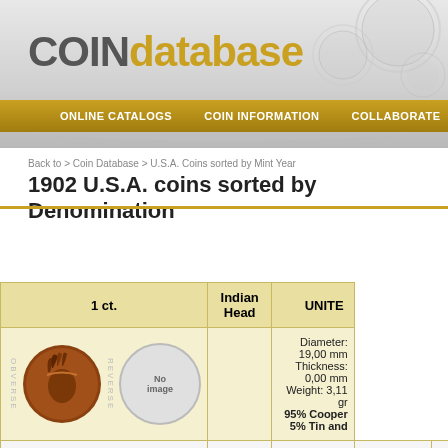[Figure (logo): COINdatabase logo with gold and gray text, navigation bar with ONLINE CATALOGS, COIN INFORMATION, COLLABORATE]
Back to > Coin Database > U.S.A. Coins sorted by Mint Year
1902 U.S.A. coins sorted by Denomination
| 1 ct. | Indian Head | UNITED (STATES) |
| --- | --- | --- |
| [coin image] | Diameter: 19,00 mm
Thickness: 0,00 mm
Weight: 3,11 gr
95% Cooper 5% Tin and |
| Cdb | Year | Mint | Mintage | N |
| B011039 | 1902 | Philadelphia | 87.376.722 |  |
| 5 ct. | Liberty | UNITED (STATES) |